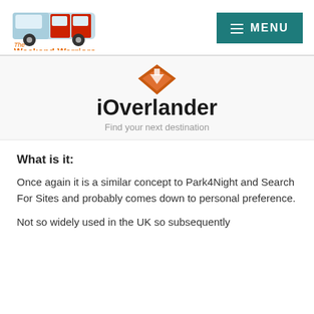[Figure (logo): The Weekend Warriors logo: illustrated campervan with red doors and blue tones, with orange text 'The Weekend Warriors' below]
[Figure (logo): iOverlander app logo: orange diamond/chevron down-arrow icon, bold text 'iOverlander', subtitle 'Find your next destination']
What is it:
Once again it is a similar concept to Park4Night and Search For Sites and probably comes down to personal preference.
Not so widely used in the UK so subsequently